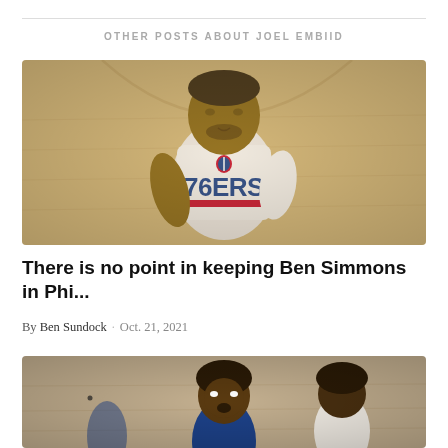OTHER POSTS ABOUT JOEL EMBIID
[Figure (photo): Ben Simmons wearing a white 76ERS practice shirt on a basketball court]
There is no point in keeping Ben Simmons in Phi...
By Ben Sundock · Oct. 21, 2021
[Figure (photo): Joel Embiid on the basketball court during a game]